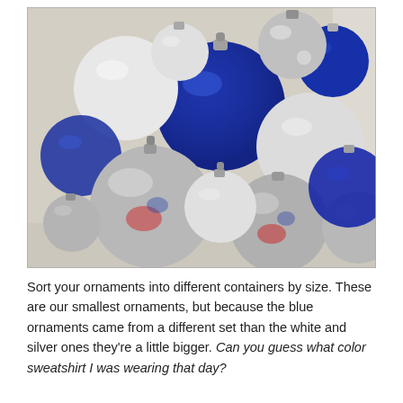[Figure (photo): A plastic storage container filled with Christmas ornaments of various colors and sizes: blue glitter ornaments, white frosted ornaments, and shiny silver ornaments. The ornaments are sorted together in the box.]
Sort your ornaments into different containers by size. These are our smallest ornaments, but because the blue ornaments came from a different set than the white and silver ones they're a little bigger. Can you guess what color sweatshirt I was wearing that day?